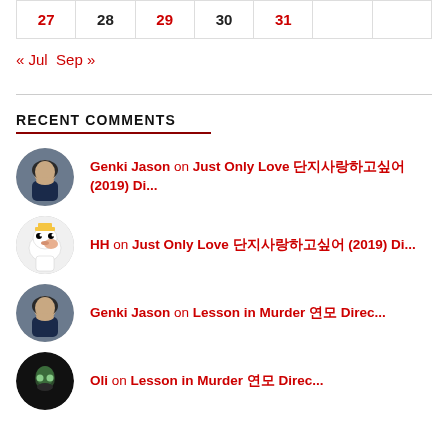| 27 | 28 | 29 | 30 | 31 |  |  |
| --- | --- | --- | --- | --- | --- | --- |
| 27 | 28 | 29 | 30 | 31 |  |  |
« Jul  Sep »
RECENT COMMENTS
Genki Jason on Just Only Love 단지사랑하고싶어 (2019) Di...
HH on Just Only Love 단지사랑하고싶어 (2019) Di...
Genki Jason on Lesson in Murder 연모 Direc...
Oli on Lesson in Murder 연모 Direc...